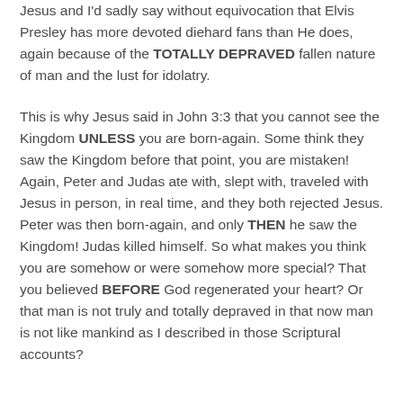Jesus and I'd sadly say without equivocation that Elvis Presley has more devoted diehard fans than He does, again because of the TOTALLY DEPRAVED fallen nature of man and the lust for idolatry.
This is why Jesus said in John 3:3 that you cannot see the Kingdom UNLESS you are born-again. Some think they saw the Kingdom before that point, you are mistaken! Again, Peter and Judas ate with, slept with, traveled with Jesus in person, in real time, and they both rejected Jesus. Peter was then born-again, and only THEN he saw the Kingdom! Judas killed himself. So what makes you think you are somehow or were somehow more special? That you believed BEFORE God regenerated your heart? Or that man is not truly and totally depraved in that now man is not like mankind as I described in those Scriptural accounts?